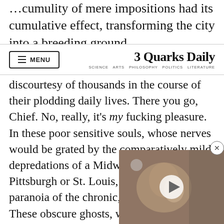…cumulity of mere impositions had its cumulative effect, transforming the city into a breeding ground
3 Quarks Daily — SCIENCE ARTS PHILOSOPHY POLITICS LITERATURE
discourtesy of thousands in the course of their plodding daily lives. There you go, Chief. No, really, it's my fucking pleasure. In these poor sensitive souls, whose nerves would be grated by the comparatively mild depredations of a Midwestern city like Pittsburgh or St. Louis, New York effects a paranoia of the chronic, distracted variety. These obscure ghosts, whose eyes remain fixed on the distance or the concrete before them, and whose tolerance for the physical intimacy of subway… stop or two at most, these vic… for their twitchy gaits and pa… hair-trigger shoulders, which…
[Figure (screenshot): Video player overlay showing what appears to be an animal (possibly an otter or similar creature), with a circular play button in the center and a close (X) button in the top right corner.]